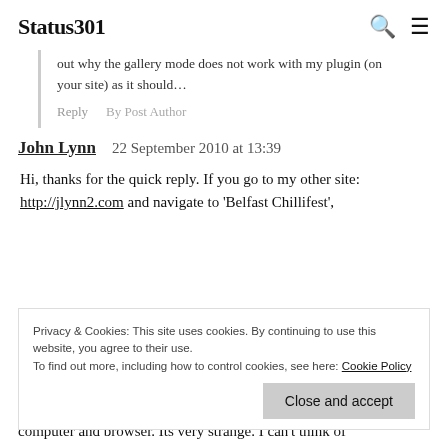Status301
out why the gallery mode does not work with my plugin (on your site) as it should…
Reply    By Post Author
John Lynn    22 September 2010 at 13:39
Hi, thanks for the quick reply. If you go to my other site: http://jlynn2.com and navigate to 'Belfast Chillifest',
Privacy & Cookies: This site uses cookies. By continuing to use this website, you agree to their use. To find out more, including how to control cookies, see here: Cookie Policy  Close and accept
computer and browser. Its very strange. I can't think of